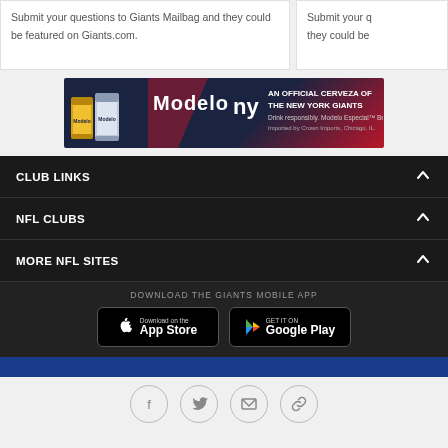Submit your questions to Giants Mailbag and they could be featured on Giants.com.
Submit your questions to Giants Mailbag and they could be featured on Giants.com.
[Figure (photo): Modelo beer advertisement banner: AN OFFICIAL CERVEZA OF THE NEW YORK GIANTS. Drink responsibly. Modelo Especial Beer. Imported by Crown Imports, Chicago, IL.]
CLUB LINKS
NFL CLUBS
MORE NFL SITES
DOWNLOAD THE GIANTS MOBILE APP
[Figure (screenshot): Download on the App Store button]
[Figure (screenshot): Get it on Google Play button]
[Figure (infographic): Social media icons: Facebook, Twitter, Email, Link]